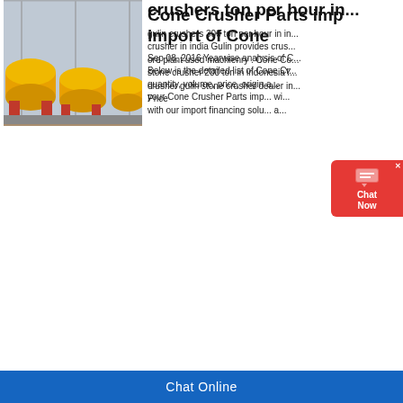[Figure (photo): Outdoor mining/quarry site with industrial machinery and equipment, mountains in background, dusty environment]
Cone Crusher Parts imp... import of Cone
Sep 08, 2016 Yearwise analysis of C... Below is the detailed list of Cone Cr... quantity, volume, price, origin a... your Cone Crusher Parts imp... wi... with our import financing solu... a...
[Figure (photo): Indoor industrial warehouse with large yellow cylindrical drum/roller machinery on red supports, steel structure building]
crushers ton per hour in...
gulin crushers 300 ton per hour in in... crusher in india Gulin provides crus... ore plant used machienry . Cone Co... stone crusher 200 ton in indonesiaY... crusher gulin stone crusher dealer in... Price
Chat Online